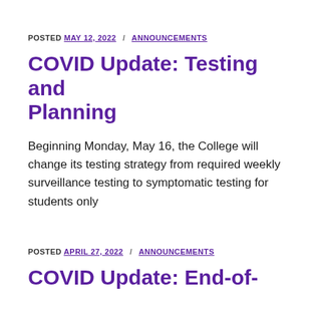POSTED MAY 12, 2022 / ANNOUNCEMENTS
COVID Update: Testing and Planning
Beginning Monday, May 16, the College will change its testing strategy from required weekly surveillance testing to symptomatic testing for students only
POSTED APRIL 27, 2022 / ANNOUNCEMENTS
COVID Update: End-of-